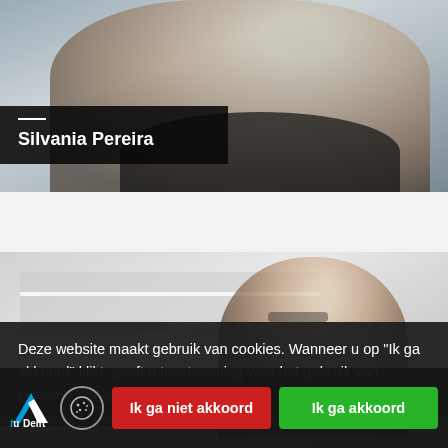[Figure (photo): Photo of Silvania Pereira standing in a laboratory with scientific equipment, smiling, wearing glasses and a black cardigan.]
Silvania Pereira
[Figure (photo): Black and white photo of Bernd Rieger in a laboratory setting, wearing glasses.]
Bernd Rieger
Deze website maakt gebruik van cookies. Wanneer u op "Ik ga akkoord" klikt, geeft u toestemming voor het gebruik van cookies. Wat zijn cookies?
Ik ga niet akkoord
Ik ga akkoord